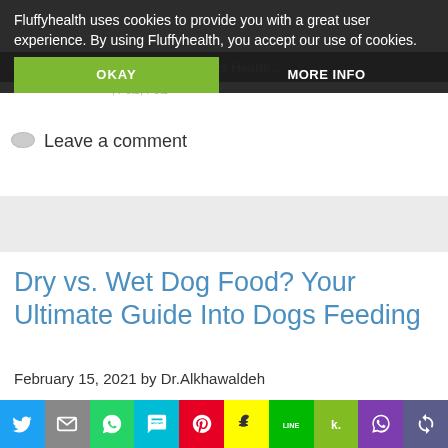Fluffyhealth uses cookies to provide you with a great user experience. By using Fluffyhealth, you accept our use of cookies.
OKAY
MORE INFO
Leave a comment
Dry vs. Wet Dog Food? Your Ultimate Guide Into Dogs Feeding
February 15, 2021 by Dr.Alkhawaldeh
[Figure (photo): Close-up photo of a dog's fur, brown/orange colored, with a small purple dog logo icon in the top left corner]
[Figure (infographic): Social sharing bar with icons for Twitter, Email, WhatsApp, SMS, Pinterest, Snapchat, LINE, Kik, Viber, and copy link]